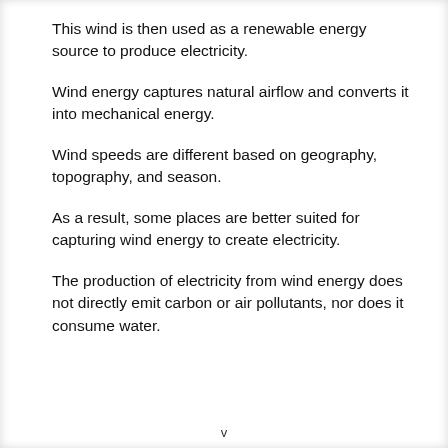This wind is then used as a renewable energy source to produce electricity.
Wind energy captures natural airflow and converts it into mechanical energy.
Wind speeds are different based on geography, topography, and season.
As a result, some places are better suited for capturing wind energy to create electricity.
The production of electricity from wind energy does not directly emit carbon or air pollutants, nor does it consume water.
v